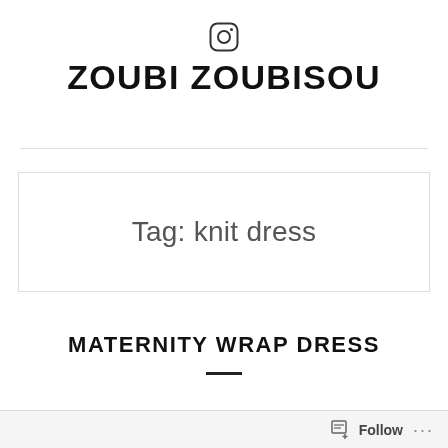[Figure (logo): Instagram logo icon (camera outline)]
ZOUBI ZOUBISOU
Tag: knit dress
MATERNITY WRAP DRESS
Follow ...